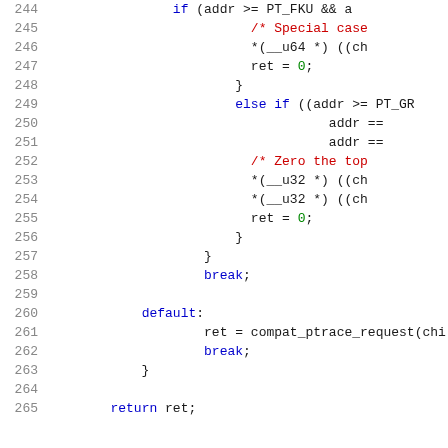[Figure (screenshot): Source code listing lines 244-265 of a C kernel file showing ptrace compatibility code with syntax highlighting. Line numbers in gray on left, keywords in blue, comments in red, numeric literals in green.]